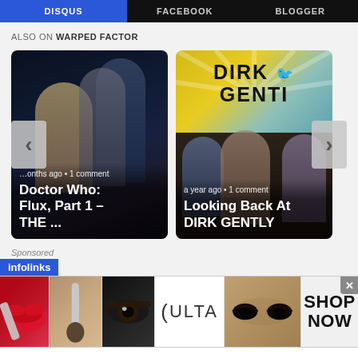DISQUS | FACEBOOK | BLOGGER
ALSO ON WARPED FACTOR
[Figure (screenshot): Article card: Doctor Who: Flux, Part 1 – THE ... with thumbnail image. Shows '...onths ago • 1 comment']
[Figure (screenshot): Article card: Looking Back At DIRK GENTLY with Dirk Gently logo and cast photo. Shows 'a year ago • 1 comment']
Sponsored
[Figure (infographic): Infolinks advertisement bar with ULTA beauty product images and SHOP NOW call to action. Shows lipstick, makeup brush, eye makeup, ULTA logo, eye close-up, and SHOP NOW text.]